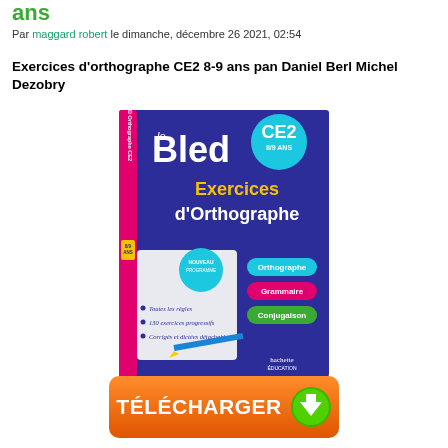ans
Par maggard robert le dimanche, décembre 26 2021, 02:54
Exercices d'orthographe CE2 8-9 ans pan Daniel Berl Michel Dezobry
[Figure (photo): Book cover of 'Le Bled CE2 Exercices d'Orthographe' by Hachette Education, for ages 8/9, showing the book with sections for Orthographe, Grammaire, and Conjugaison]
[Figure (other): Orange download button with text TÉLÉCHARGER and green download arrow icon]